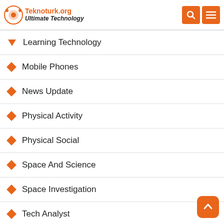Teknoturk.org Ultimate Technology
Learning Technology
Mobile Phones
News Update
Physical Activity
Physical Social
Space And Science
Space Investigation
Tech Analyst
Tech Companies